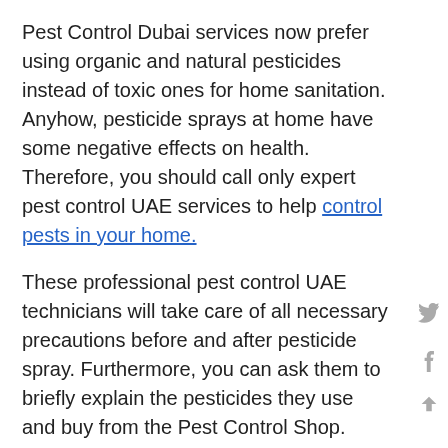Pest Control Dubai services now prefer using organic and natural pesticides instead of toxic ones for home sanitation. Anyhow, pesticide sprays at home have some negative effects on health. Therefore, you should call only expert pest control UAE services to help control pests in your home.
These professional pest control UAE technicians will take care of all necessary precautions before and after pesticide spray. Furthermore, you can ask them to briefly explain the pesticides they use and buy from the Pest Control Shop.
Non-toxic Building Materials